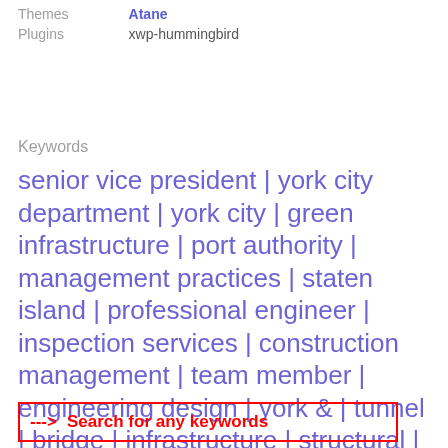| Themes | Atane |
| Plugins | xwp-hummingbird |
Keywords
senior vice president | york city department | york city | green infrastructure | port authority | management practices | staten island | professional engineer | inspection services | construction management | team member | engineering design | york & | tunnel | bridge | infrastructure | structural | structure | surveying | transportation
---> Search for any keywords